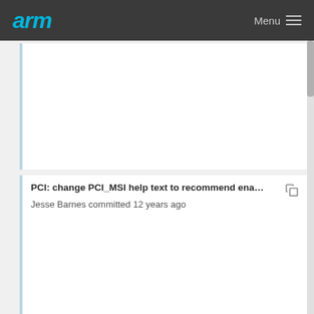arm  Menu
PCI: change PCI_MSI help text to recommend ena... Jesse Barnes committed 12 years ago
Linux-2.6.12-rc2 Linus Torvalds committed 17 years ago
PCI/MSI: Enhance core to support hierarchy irqdo... Jiang Liu committed 7 years ago